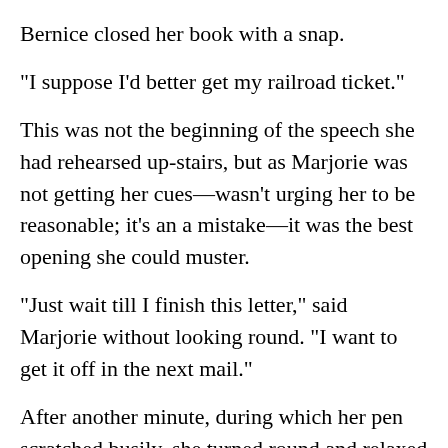Bernice closed her book with a snap.
"I suppose I'd better get my railroad ticket."
This was not the beginning of the speech she had rehearsed up-stairs, but as Marjorie was not getting her cues—wasn't urging her to be reasonable; it's an a mistake—it was the best opening she could muster.
"Just wait till I finish this letter," said Marjorie without looking round. "I want to get it off in the next mail."
After another minute, during which her pen scratched busily, she turned round and relaxed with an air of "at your service." Again Bernice had to speak.